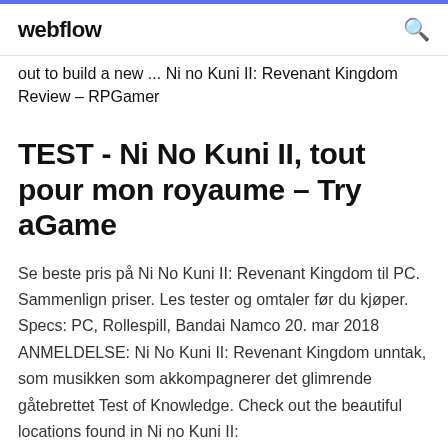webflow
out to build a new ... Ni no Kuni II: Revenant Kingdom Review – RPGamer
TEST - Ni No Kuni II, tout pour mon royaume – Try aGame
Se beste pris på Ni No Kuni II: Revenant Kingdom til PC. Sammenlign priser. Les tester og omtaler før du kjøper. Specs: PC, Rollespill, Bandai Namco 20. mar 2018 ANMELDELSE: Ni No Kuni II: Revenant Kingdom unntak, som musikken som akkompagnerer det glimrende gåtebrettet Test of Knowledge. Check out the beautiful locations found in Ni no Kuni II: